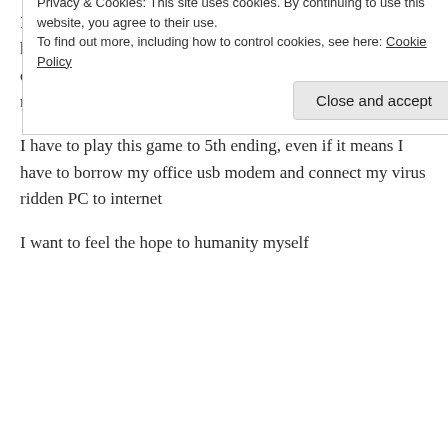I am devastated for all the tragedies on 3rd chapter, and havent even reach the ending yet (and I saw 9s and A2 lies on pool of blood above lol), but the spoiler matter little for me now
I have to play this game to 5th ending, even if it means I have to borrow my office usb modem and connect my virus ridden PC to internet
I want to feel the hope to humanity myself
Privacy & Cookies: This site uses cookies. By continuing to use this website, you agree to their use.
To find out more, including how to control cookies, see here: Cookie Policy